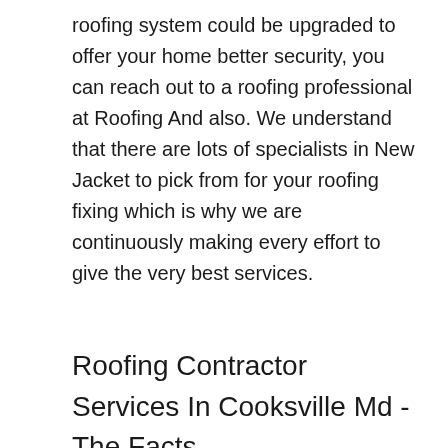roofing system could be upgraded to offer your home better security, you can reach out to a roofing professional at Roofing And also. We understand that there are lots of specialists in New Jacket to pick from for your roofing fixing which is why we are continuously making every effort to give the very best services.
Roofing Contractor Services In Cooksville Md - The Facts